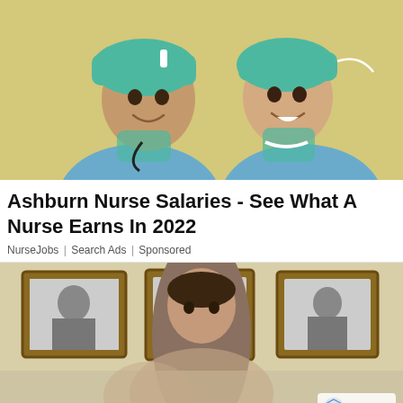[Figure (photo): Two smiling female nurses wearing teal/green surgical caps and blue scrubs, looking over their shoulders at the camera against a yellow wall background.]
Ashburn Nurse Salaries - See What A Nurse Earns In 2022
NurseJobs | Search Ads | Sponsored
[Figure (photo): A partially visible scene showing two people (a man and a woman) in a room decorated with framed black-and-white photographs on yellow walls. A Google reCAPTCHA badge is visible in the lower right corner.]